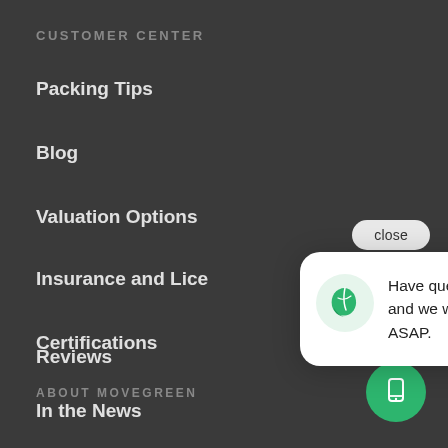CUSTOMER CENTER
Packing Tips
Blog
Valuation Options
Insurance and Lice…
Certifications
ABOUT MOVEGREEN
Reviews
In the News
[Figure (screenshot): Chat popup with green leaf logo: 'Have questions? Send us a text and we will get back to you ASAP.' with a close button and green SMS button]